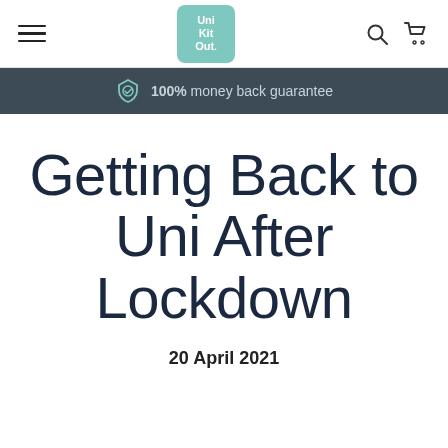Uni Kit Out navigation bar with hamburger menu, logo, search and cart icons
100% money back guarantee
Getting Back to Uni After Lockdown
20 April 2021